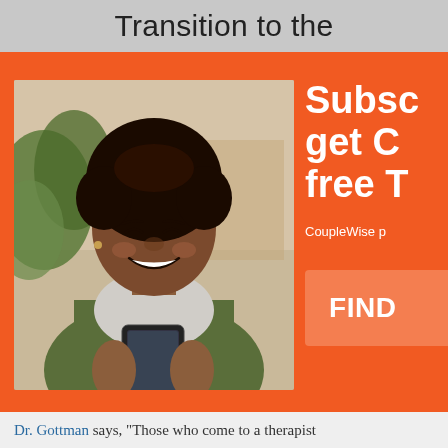Transition to the
[Figure (photo): Advertisement banner with orange background. Left side shows a smiling Black woman looking at her smartphone, wearing a green cardigan and gold necklace. Right side shows white bold text starting with 'Subsc', 'get C', 'free T', then smaller text 'CoupleWise p', and an orange button with bold text 'FIND'.]
Dr. Gottman says, "Those who come to a therapist